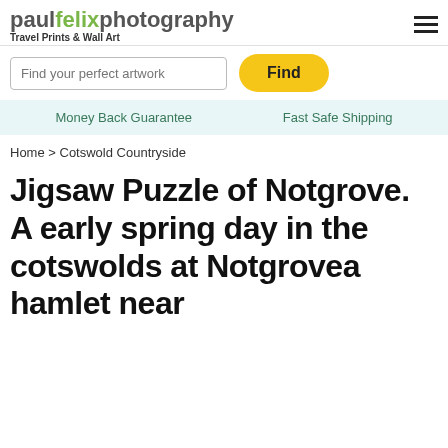paulfelixphotography
Travel Prints & Wall Art
Find your perfect artwork
Find
Money Back Guarantee   Fast Safe Shipping
Home > Cotswold Countryside
Jigsaw Puzzle of Notgrove. A early spring day in the cotswolds at Notgrovea hamlet near